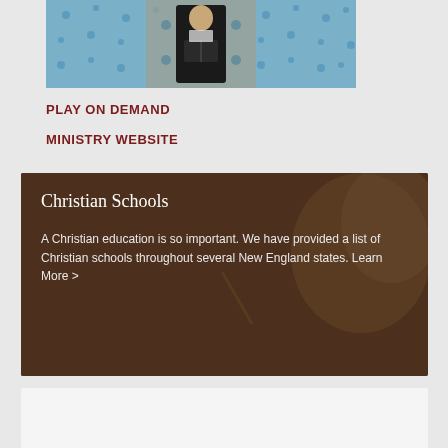[Figure (photo): A person in black robes reading from a book at a podium, with a blue patterned background]
PLAY ON DEMAND
MINISTRY WEBSITE
[Figure (photo): Christian Schools section with a child writing in the background. Title: Christian Schools. Body: A Christian education is so important. We have provided a list of Christian schools throughout several New England states. Learn More >]
[Figure (photo): Partially visible bottom image block with light background]